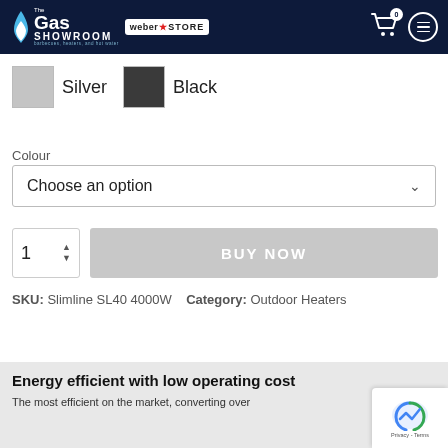The Gas Showroom — Weber Store
[Figure (other): Color swatches: Silver and Black options]
Colour
[Figure (other): Dropdown selector: Choose an option]
[Figure (other): Quantity input (1) and BUY NOW button (greyed out)]
SKU: Slimline SL40 4000W   Category: Outdoor Heaters
Energy efficient with low operating cost
The most efficient on the market, converting over